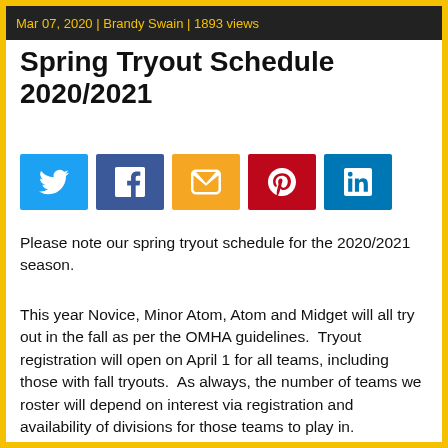Mar 07, 2020 | Brandy Swain | 1893 views
Spring Tryout Schedule 2020/2021
[Figure (infographic): Social share buttons: Twitter (blue), Facebook (dark blue), Email (orange), Pinterest (red), LinkedIn (blue)]
Please note our spring tryout schedule for the 2020/2021 season.
This year Novice, Minor Atom, Atom and Midget will all try out in the fall as per the OMHA guidelines.  Tryout registration will open on April 1 for all teams, including those with fall tryouts.  As always, the number of teams we roster will depend on interest via registration and availability of divisions for those teams to play in.